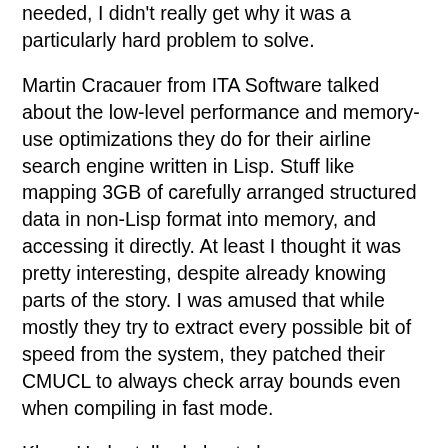needed, I didn't really get why it was a particularly hard problem to solve.
Martin Cracauer from ITA Software talked about the low-level performance and memory-use optimizations they do for their airline search engine written in Lisp. Stuff like mapping 3GB of carefully arranged structured data in non-Lisp format into memory, and accessing it directly. At least I thought it was pretty interesting, despite already knowing parts of the story. I was amused that while mostly they try to extract every possible bit of speed from the system, they patched their CMUCL to always check array bounds even when compiling in fast mode.
Klaus Harbo talked about cl-muproc, an Erlang-inspired concurrency library for CL. Basically mailboxes, limited pattern-matching (can only match by the type of data of the received message,